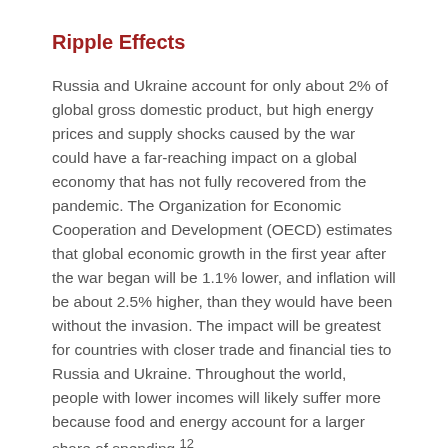Ripple Effects
Russia and Ukraine account for only about 2% of global gross domestic product, but high energy prices and supply shocks caused by the war could have a far-reaching impact on a global economy that has not fully recovered from the pandemic. The Organization for Economic Cooperation and Development (OECD) estimates that global economic growth in the first year after the war began will be 1.1% lower, and inflation will be about 2.5% higher, than they would have been without the invasion. The impact will be greatest for countries with closer trade and financial ties to Russia and Ukraine. Throughout the world, people with lower incomes will likely suffer more because food and energy account for a larger share of spending.¹²
According to the same OECD report, inflation could rise an additional 2% in the euro area and 1.4% higher in the United States than it would have